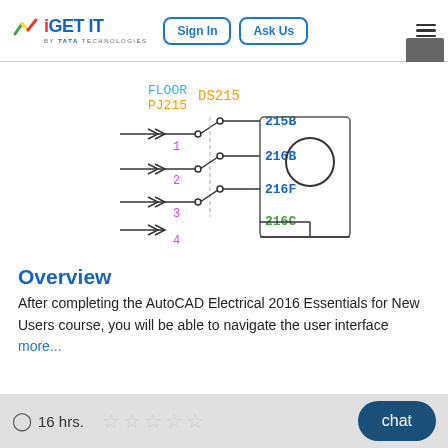[Figure (logo): iGET IT by Tata Technologies logo with multicolor icon]
[Figure (screenshot): Navigation buttons: Sign In and Ask Us, with hamburger menu]
[Figure (engineering-diagram): AutoCAD Electrical schematic showing three-phase motor connection with labels FLOOR, PJ215, DS215, 215B, 216B, 216F, 216C and phase lines 1, 2, 3, 4 with disconnect switch symbols and a motor circle]
Overview
After completing the AutoCAD Electrical 2016 Essentials for New Users course, you will be able to navigate the user interface more...
16 hrs.  ☆ ☆ ☆ ☆ ☆  chat